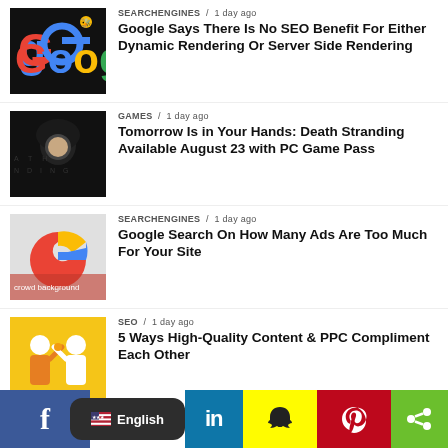[Figure (photo): Google logo on dark background]
SEARCHENGINES / 1 day ago
Google Says There Is No SEO Benefit For Either Dynamic Rendering Or Server Side Rendering
[Figure (photo): Person in dark hoodie in front of Death Stranding text]
GAMES / 1 day ago
Tomorrow Is in Your Hands: Death Stranding Available August 23 with PC Game Pass
[Figure (photo): Google G logo colorful]
SEARCHENGINES / 1 day ago
Google Search On How Many Ads Are Too Much For Your Site
[Figure (photo): Two people high-fiving on yellow background]
SEO / 1 day ago
5 Ways High-Quality Content & PPC Compliment Each Other
f  English  in  [snapchat]  [pinterest]  [share]